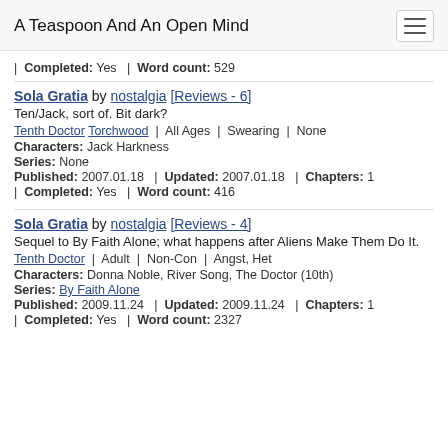A Teaspoon And An Open Mind
| Completed: Yes | Word count: 529
Sola Gratia by nostalgia [Reviews - 6]
Ten/Jack, sort of. Bit dark?
Tenth Doctor Torchwood | All Ages | Swearing | None
Characters: Jack Harkness
Series: None
Published: 2007.01.18 | Updated: 2007.01.18 | Chapters: 1
| Completed: Yes | Word count: 416
Sola Gratia by nostalgia [Reviews - 4]
Sequel to By Faith Alone; what happens after Aliens Make Them Do It.
Tenth Doctor | Adult | Non-Con | Angst, Het
Characters: Donna Noble, River Song, The Doctor (10th)
Series: By Faith Alone
Published: 2009.11.24 | Updated: 2009.11.24 | Chapters: 1
| Completed: Yes | Word count: 2327